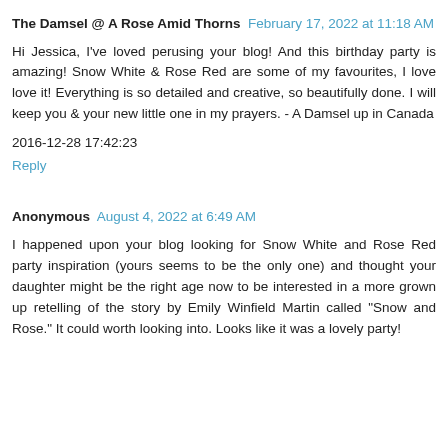The Damsel @ A Rose Amid Thorns  February 17, 2022 at 11:18 AM
Hi Jessica, I've loved perusing your blog! And this birthday party is amazing! Snow White & Rose Red are some of my favourites, I love love it! Everything is so detailed and creative, so beautifully done. I will keep you & your new little one in my prayers. - A Damsel up in Canada
2016-12-28 17:42:23
Reply
Anonymous  August 4, 2022 at 6:49 AM
I happened upon your blog looking for Snow White and Rose Red party inspiration (yours seems to be the only one) and thought your daughter might be the right age now to be interested in a more grown up retelling of the story by Emily Winfield Martin called "Snow and Rose." It could worth looking into. Looks like it was a lovely party!